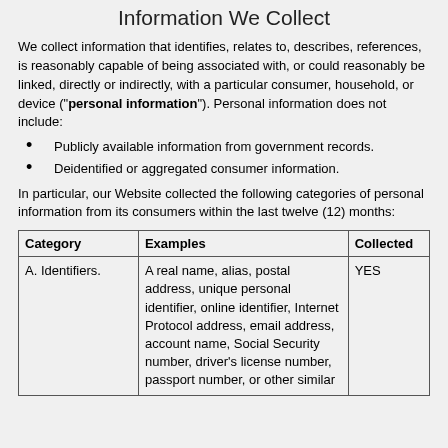Information We Collect
We collect information that identifies, relates to, describes, references, is reasonably capable of being associated with, or could reasonably be linked, directly or indirectly, with a particular consumer, household, or device ("personal information"). Personal information does not include:
Publicly available information from government records.
Deidentified or aggregated consumer information.
In particular, our Website collected the following categories of personal information from its consumers within the last twelve (12) months:
| Category | Examples | Collected |
| --- | --- | --- |
| A. Identifiers. | A real name, alias, postal address, unique personal identifier, online identifier, Internet Protocol address, email address, account name, Social Security number, driver's license number, passport number, or other similar | YES |